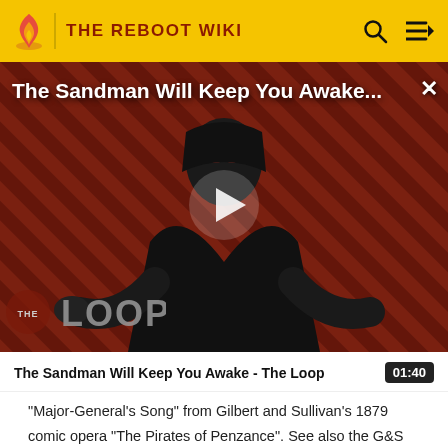THE REBOOT WIKI
[Figure (screenshot): Video thumbnail for 'The Sandman Will Keep You Awake...' showing a figure in black clothing against a red and black striped background with THE LOOP watermark and a play button overlay.]
The Sandman Will Keep You Awake - The Loop
"Major-General's Song" from Gilbert and Sullivan's 1879 comic opera "The Pirates of Penzance". See also the G&S Parody Archive. Lyrics transcribed by Mike